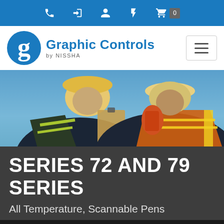Navigation bar with phone, login, account, bolt, cart icons
[Figure (logo): Graphic Controls by NISSHA logo with blue G icon and hamburger menu button]
[Figure (photo): Two construction workers in hard hats and safety vests, one holding a clipboard, talking outdoors against a blue sky]
SERIES 72 AND 79 SERIES
All Temperature, Scannable Pens
Please Note: This site uses cookies